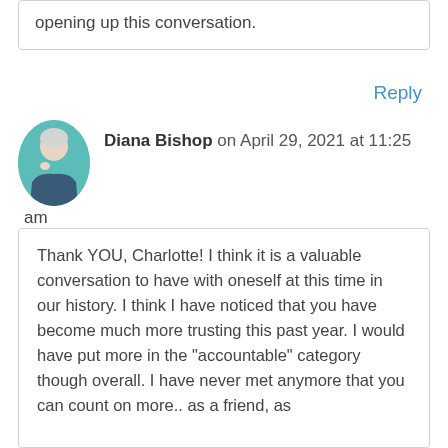opening up this conversation.
Reply
Diana Bishop on April 29, 2021 at 11:25 am
Thank YOU, Charlotte! I think it is a valuable conversation to have with oneself at this time in our history. I think I have noticed that you have become much more trusting this past year. I would have put more in the “accountable” category though overall. I have never met anymore that you can count on more.. as a friend, as